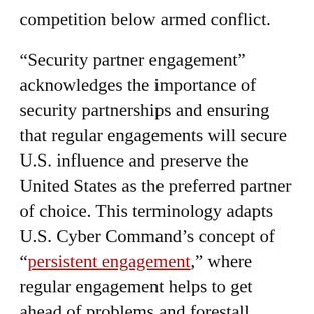competition below armed conflict.

“Security partner engagement” acknowledges the importance of security partnerships and ensuring that regular engagements will secure U.S. influence and preserve the United States as the preferred partner of choice. This terminology adapts U.S. Cyber Command’s concept of “persistent engagement,” where regular engagement helps to get ahead of problems and forestall opponents’ abilities to gain advantage. Applying this logic to civil-military security engagements acknowledges that the influence and advantages afforded by